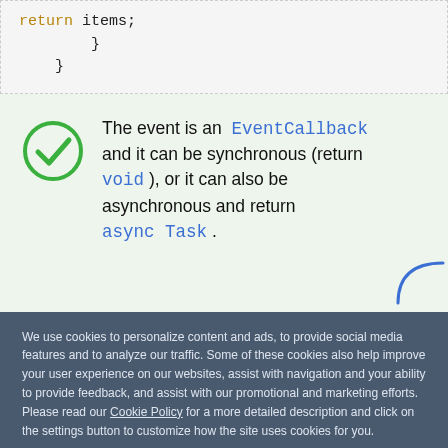[Figure (screenshot): Code snippet showing 'return items;' followed by two closing braces, displayed in a light gray dashed-border code block.]
The event is an EventCallback and it can be synchronous (return void ), or it can also be asynchronous and return async Task .
We use cookies to personalize content and ads, to provide social media features and to analyze our traffic. Some of these cookies also help improve your user experience on our websites, assist with navigation and your ability to provide feedback, and assist with our promotional and marketing efforts. Please read our Cookie Policy for a more detailed description and click on the settings button to customize how the site uses cookies for you.